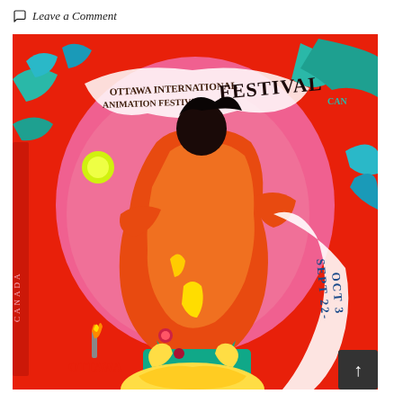Leave a Comment
[Figure (illustration): Colorful festival poster for Ottawa International Animation Festival, Sept 22 - Oct 3. Features a vibrant psychedelic illustration with a dancing figure in orange/red robes on a pink and red background, surrounded by swirling decorative elements, flowers, and bold text. The text reads: Ottawa International Animation Festival, Sept 22-Oct 3, Ottawa.]